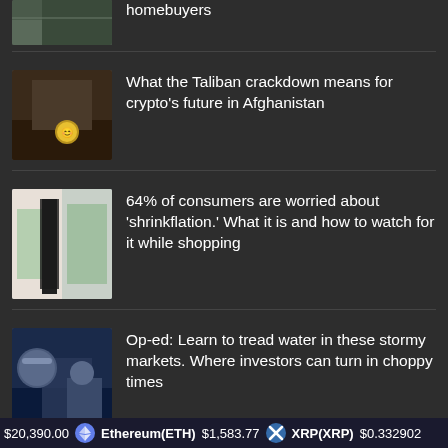homebuyers
What the Taliban crackdown means for crypto’s future in Afghanistan
64% of consumers are worried about ‘shrinkflation.’ What it is and how to watch for it while shopping
Op-ed: Learn to tread water in these stormy markets. Where investors can turn in choppy times
$20,390.00   Ethereum(ETH)  $1,583.77   XRP(XRP)  $0.332902